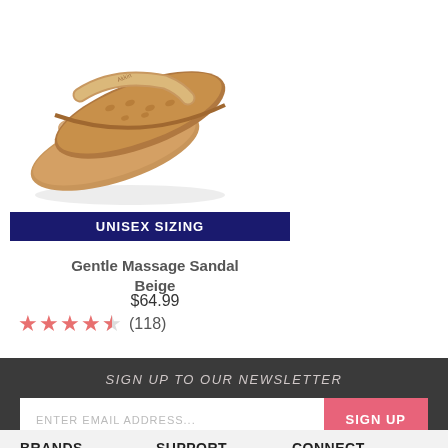[Figure (photo): Beige massage sandals/slides with cork-like footbed and tan leather strap, shown as a pair from above at an angle]
UNISEX SIZING
Gentle Massage Sandal Beige
$64.99
★★★★☆ (118)
SIGN UP TO OUR NEWSLETTER
ENTER EMAIL ADDRESS...
SIGN UP
BRANDS
SUPPORT
CONNECT
A'kin
Contact Us
Store Locator